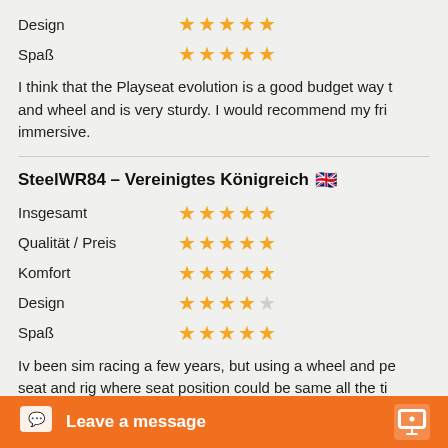Design ★★★★★
Spaß ★★★★★
I think that the Playseat evolution is a good budget way t... and wheel and is very sturdy. I would recommend my fri... immersive.
SteelWR84 – Vereinigtes Königreich 🇬🇧
Insgesamt ★★★★★
Qualität / Preis ★★★★★
Komfort ★★★★★
Design ★★★★☆
Spaß ★★★★★
Iv been sim racing a few years, but using a wheel and pe... seat and rig where seat position could be same all the ti... race.
So took the leap a... ve
The putting it toge... sa
position is right...
[Figure (other): Orange chat widget bar at bottom with 'Leave a message' text and chat bubble icon]